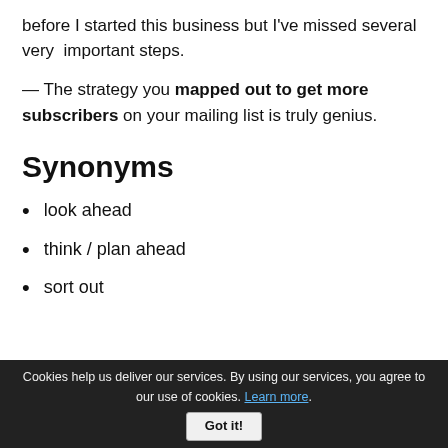before I started this business but I've missed several very  important steps.
— The strategy you mapped out to get more subscribers on your mailing list is truly genius.
Synonyms
look ahead
think / plan ahead
sort out
Cookies help us deliver our services. By using our services, you agree to our use of cookies. Learn more. Got it!